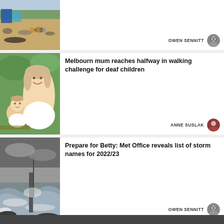[Figure (photo): Beach scene with people sitting on sand under blue sun shelters]
OWEN SENNITT
[Figure (photo): Woman smiling and holding a baby outdoors]
Melbourn mum reaches halfway in walking challenge for deaf children
ANNE SUSLAK
[Figure (photo): Stormy sea with waves crashing against a pier]
Prepare for Betty: Met Office reveals list of storm names for 2022/23
OWEN SENNITT